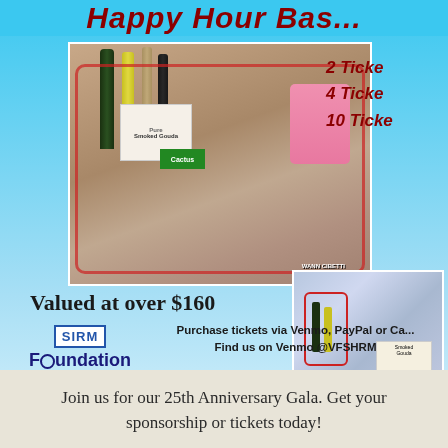Happy Hour Bas...
2 Ticke...
4 Ticke...
10 Ticke...
[Figure (photo): Red wire basket filled with wine bottles, Smoked Gouda, Cactus snacks, and various gourmet items on a dark countertop]
[Figure (photo): Smaller photo of another red wire basket with bottles and gourmet food items]
Valued at over $160
Purchase tickets via Venmo, PayPal or Ca...
Find us on Venmo @VFSHRM
Join us for our 25th Anniversary Gala. Get your sponsorship or tickets today!